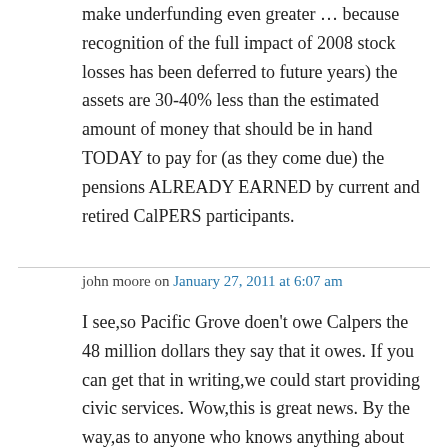make underfunding even greater … because recognition of the full impact of 2008 stock losses has been deferred to future years) the assets are 30-40% less than the estimated amount of money that should be in hand TODAY to pay for (as they come due) the pensions ALREADY EARNED by current and retired CalPERS participants.
john moore on January 27, 2011 at 6:07 am
I see,so Pacific Grove doen't owe Calpers the 48 million dollars they say that it owes. If you can get that in writing,we could start providing civic services. Wow,this is great news. By the way,as to anyone who knows anything about this